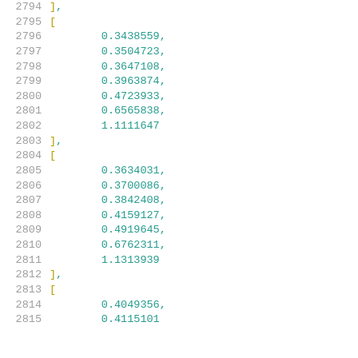2794    ],
2795    [
2796        0.3438559,
2797        0.3504723,
2798        0.3647108,
2799        0.3963874,
2800        0.4723933,
2801        0.6565838,
2802        1.1111647
2803    ],
2804    [
2805        0.3634031,
2806        0.3700086,
2807        0.3842408,
2808        0.4159127,
2809        0.4919645,
2810        0.6762311,
2811        1.1313939
2812    ],
2813    [
2814        0.4049356,
2815        0.4115101